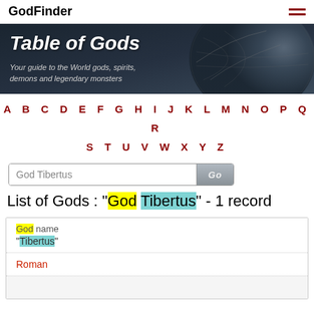GodFinder
[Figure (illustration): Dark atmospheric banner image with globe/planet texture on right side. White bold italic text reads 'Table of Gods'. Below in italic gray: 'Your guide to the World gods, spirits, demons and legendary monsters']
A B C D E F G H I J K L M N O P Q R S T U V W X Y Z
God Tibertus [search input] Go [button]
List of Gods : "God Tibertus" - 1 record
| God name |
| --- |
| "Tibertus" |
| Roman |